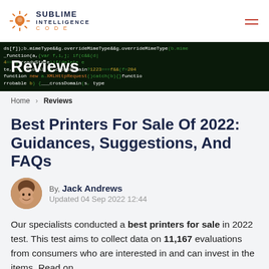SUBLIME INTELLIGENCE CODE
[Figure (illustration): Hero banner with dark background showing green/yellow code text and large white 'Reviews' label overlay]
Home > Reviews
Best Printers For Sale Of 2022: Guidances, Suggestions, And FAQs
By, Jack Andrews
Updated 04 Sep 2022 12:44
Our specialists conducted a best printers for sale in 2022 test. This test aims to collect data on 11,167 evaluations from consumers who are interested in and can invest in the items. Read on